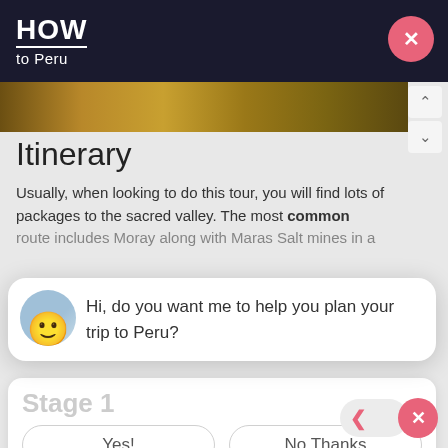HOW to Peru
[Figure (photo): Landscape photo strip showing a dirt road through arid terrain]
Itinerary
Usually, when looking to do this tour, you will find lots of packages to the sacred valley. The most common route includes Moray along with Maras Salt mines in a full-day tour, but normally they don't give you access to the actual terraces giving you only a short itinerary during the day.
Hi, do you want me to help you plan your trip to Peru?
Stage 1
Yes!
No Thanks
The tour begins with the pick up from your hotel or hostel in Cusco city. Then the whole group heads to the town of Cruzpata, where you will be able to practice for some minutes until all of you are ready to depart.
Stage 2